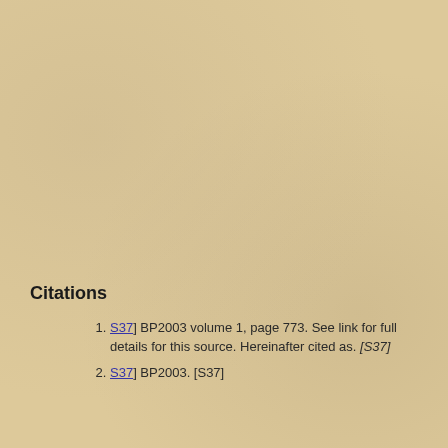Citations
[S37] BP2003 volume 1, page 773. See link for full details for this source. Hereinafter cited as. [S37]
[S37] BP2003. [S37]